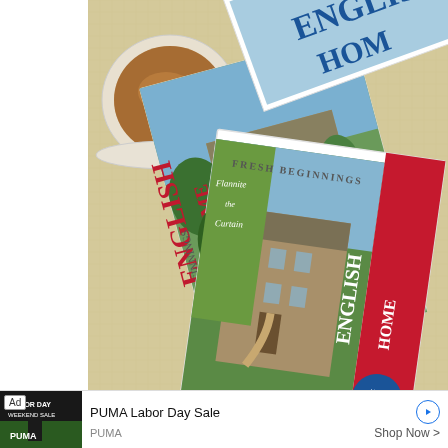[Figure (photo): A photo showing two issues of 'The English Home' magazine on a table with a cup of tea. The top magazine shows 'English Home - Fresh Beginnings' cover with a country house. Another issue beneath shows 'English Home' sideways. A white teacup with tea is visible at upper left on a yellow/cream textured tablecloth.]
You have 4 free post views remaining this month. Become a Member and view posts
[Figure (screenshot): Advertisement banner: PUMA Labor Day Sale. Ad thumbnail shows a dark sports image with 'Labor Day Weekend Sale' text and a person. Ad label shows 'Ad', title 'PUMA Labor Day Sale', brand 'PUMA', call-to-action 'Shop Now >'.]